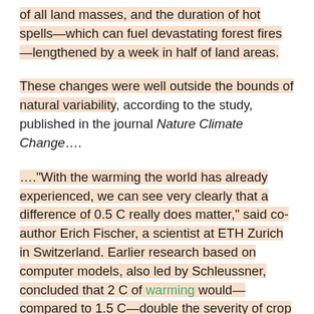of all land masses, and the duration of hot spells—which can fuel devastating forest fires—lengthened by a week in half of land areas.
These changes were well outside the bounds of natural variability, according to the study, published in the journal Nature Climate Change....
…."With the warming the world has already experienced, we can see very clearly that a difference of 0.5 C really does matter," said co-author Erich Fischer, a scientist at ETH Zurich in Switzerland. Earlier research based on computer models, also led by Schleussner, concluded that 2 C of warming would—compared to 1.5 C—double the severity of crop failures, water shortages and heatwaves in many regions of the world. It also found that holding the rise in temperature to 1.5 C